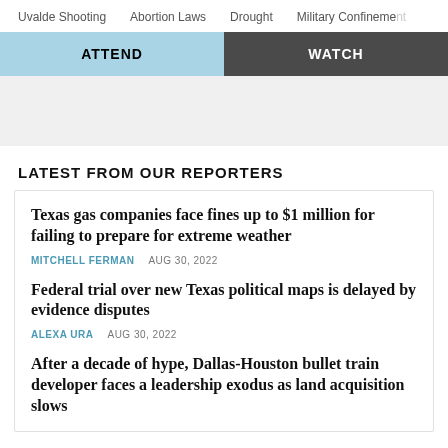Uvalde Shooting    Abortion Laws    Drought    Military Confinement
ATTEND    WATCH
LATEST FROM OUR REPORTERS
Texas gas companies face fines up to $1 million for failing to prepare for extreme weather
MITCHELL FERMAN    AUG 30, 2022
Federal trial over new Texas political maps is delayed by evidence disputes
ALEXA URA    AUG 30, 2022
After a decade of hype, Dallas-Houston bullet train developer faces a leadership exodus as land acquisition slows